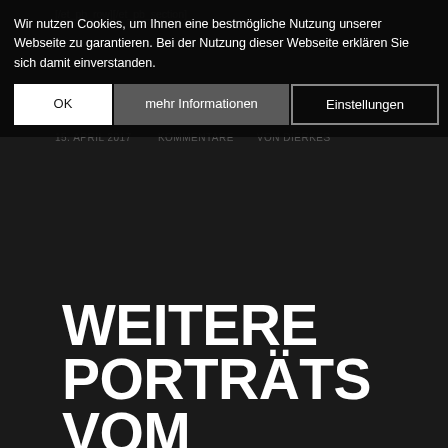[/et_pb_row][/et_pb_section]
Wir nutzen Cookies, um Ihnen eine bestmögliche Nutzung unserer Webseite zu garantieren. Bei der Nutzung dieser Webseite erklären Sie sich damit einverstanden.
15. APRIL 2017  /  KOMMENTARE  /  VON DIERKES
OK
mehr Informationen
Einstellungen
WEITERE PORTRÄTS VOM 15.04.2017
BLOG, FOTOGRAFIE, HUNDESCHULE
[et_pb_section bb_built="1" admin_label="section"][et_pb_row admin_label="row"][et_pb_column type="4_4"